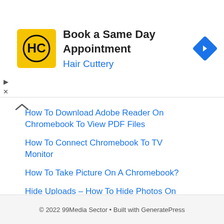[Figure (advertisement): Hair Cuttery advertisement banner with yellow logo, title 'Book a Same Day Appointment', subtitle 'Hair Cuttery', and a blue diamond navigation arrow icon on the right.]
How To Download Adobe Reader On Chromebook To View PDF Files
How To Connect Chromebook To TV Monitor
How To Take Picture On A Chromebook?
Hide Uploads – How To Hide Photos On Facebook
The Future of Mobile Applications in Healthcare
© 2022 99Media Sector • Built with GeneratePress